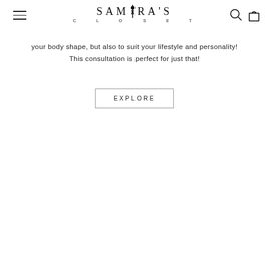SAMIRA'S CLOSET
your body shape, but also to suit your lifestyle and personality! This consultation is perfect for just that!
EXPLORE